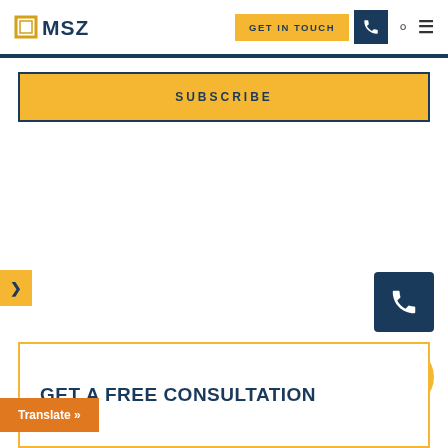MSZ — GET IN TOUCH
SUBSCRIBE
[Figure (screenshot): Navigation arrow button pointing right, yellow background]
[Figure (screenshot): Phone icon button, dark navy background, floating action button]
[Figure (screenshot): Chat bubble icon button, yellow/gold circular floating action button]
GET A FREE CONSULTATION
Translate »